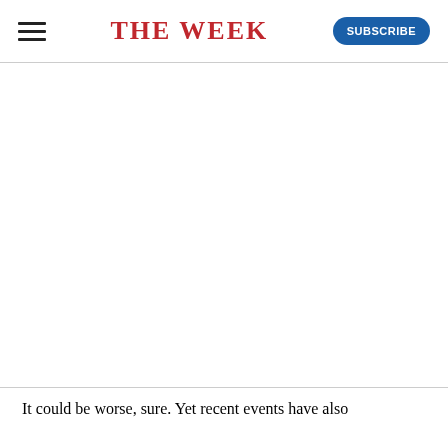THE WEEK
It could be worse, sure. Yet recent events have also